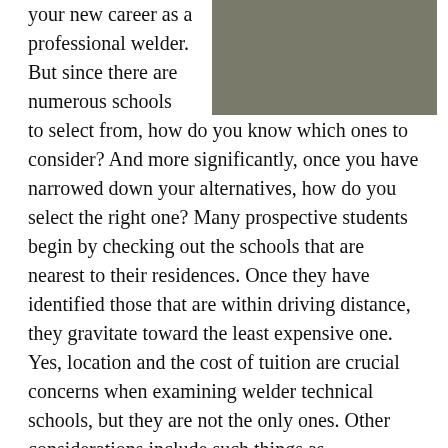[Figure (photo): A welder working with equipment in a workshop setting, wearing protective gear, with green industrial machinery visible.]
your new career as a professional welder. But since there are numerous schools to select from, how do you know which ones to consider? And more significantly, once you have narrowed down your alternatives, how do you select the right one? Many prospective students begin by checking out the schools that are nearest to their residences. Once they have identified those that are within driving distance, they gravitate toward the least expensive one. Yes, location and the cost of tuition are crucial concerns when examining welder technical schools, but they are not the only ones. Other considerations include such things as accreditation, reputation and job placement rates. So before initiating your search for a vocational school to become a welder, it's prudent to establish a list of qualifications that your selected welding school must have. But before we examine our due diligence